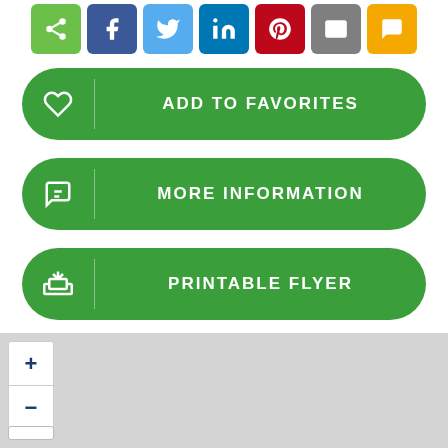[Figure (screenshot): Social share buttons row: share (green), Facebook (blue), Twitter (light blue), LinkedIn (dark blue), Pinterest (red), Email (grey), SMS (yellow)]
ADD TO FAVORITES
MORE INFORMATION
PRINTABLE FLYER
NEW SEARCH
[Figure (map): Map area with zoom in (+) and zoom out (-) controls on the left side, grey map background]